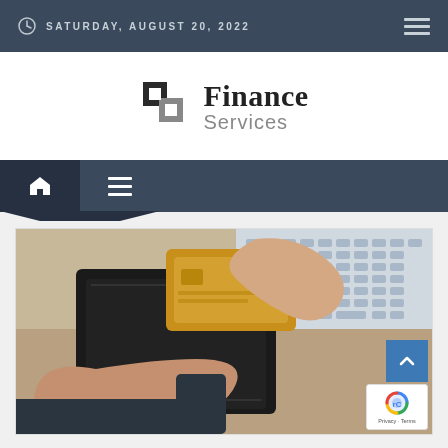SATURDAY, AUGUST 20, 2022
[Figure (logo): Finance Services logo with two overlapping squares icon and text 'Finance Services']
[Figure (screenshot): Navigation bar with home icon and hamburger menu icon on dark blue background]
[Figure (photo): Person pulling a credit card out of a black leather wallet, with a laptop keyboard visible in the background]